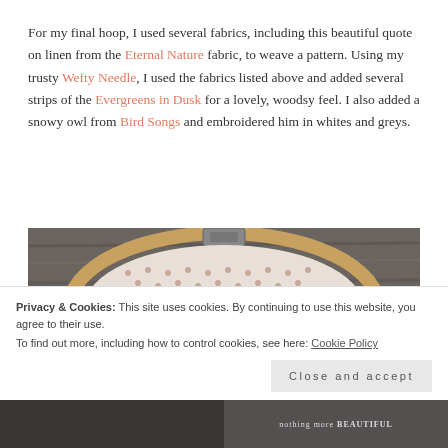For my final hoop, I used several fabrics, including this beautiful quote on linen from the Eternal Nature fabric, to weave a pattern. Using my trusty Wefty Needle, I used the fabrics listed above and added several strips of the Evergreens in Dusk for a lovely, woodsy feel. I also added a snowy owl from Bird Songs and embroidered him in whites and greys.
[Figure (photo): Overhead photo of an embroidery hoop on a dark wood background, showing woven fabric strips including a patterned linen and other fabrics. A metal hoop clasp is visible at the top.]
Privacy & Cookies: This site uses cookies. By continuing to use this website, you agree to their use.
To find out more, including how to control cookies, see here: Cookie Policy
[Figure (photo): Bottom strip showing two side-by-side photos: left is dark showing a snowy owl, right shows text reading 'nothing more BEAUTIFUL'.]